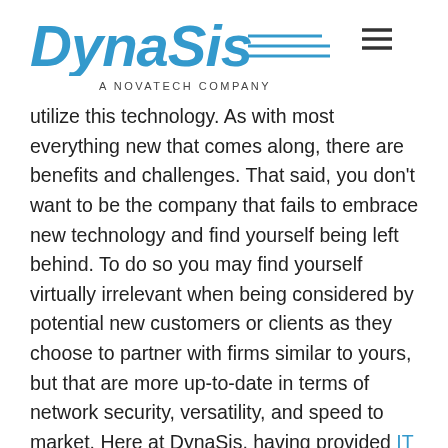[Figure (logo): DynaSis logo with horizontal lines, subtitle 'A NOVATECH COMPANY']
utilize this technology. As with most everything new that comes along, there are benefits and challenges. That said, you don't want to be the company that fails to embrace new technology and find yourself being left behind. To do so you may find yourself virtually irrelevant when being considered by potential new customers or clients as they choose to partner with firms similar to yours, but that are more up-to-date in terms of network security, versatility, and speed to market. Here at DynaSis, having provided IT support in Atlanta for more than a quarter century, we can give you proper guidance in determining your best way forward.